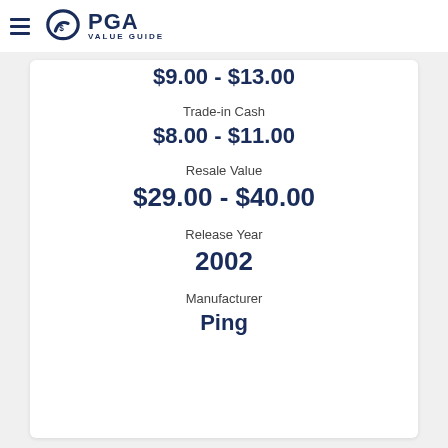PGA VALUE GUIDE
$9.00 - $13.00
Trade-in Cash
$8.00 - $11.00
Resale Value
$29.00 - $40.00
Release Year
2002
Manufacturer
Ping